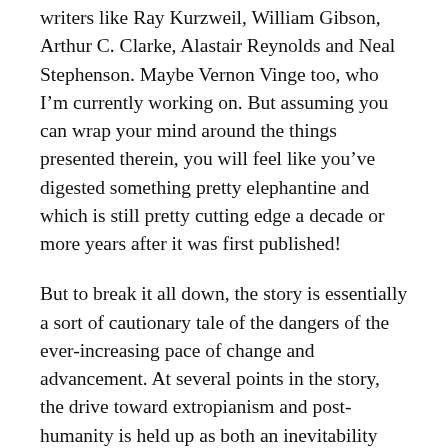writers like Ray Kurzweil, William Gibson, Arthur C. Clarke, Alastair Reynolds and Neal Stephenson. Maybe Vernon Vinge too, who I'm currently working on. But assuming you can wrap your mind around the things presented therein, you will feel like you've digested something pretty elephantine and which is still pretty cutting edge a decade or more years after it was first published!
But to break it all down, the story is essentially a sort of cautionary tale of the dangers of the ever-increasing pace of change and advancement. At several points in the story, the drive toward extropianism and post-humanity is held up as both an inevitability and a fearful prospect. It's also presented as a possible explanation for the Fermi Paradox – which states that if sentient life is